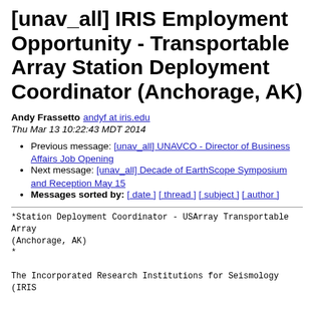[unav_all] IRIS Employment Opportunity - Transportable Array Station Deployment Coordinator (Anchorage, AK)
Andy Frassetto andyf at iris.edu
Thu Mar 13 10:22:43 MDT 2014
Previous message: [unav_all] UNAVCO - Director of Business Affairs Job Opening
Next message: [unav_all] Decade of EarthScope Symposium and Reception May 15
Messages sorted by: [ date ] [ thread ] [ subject ] [ author ]
*Station Deployment Coordinator - USArray Transportable Array
(Anchorage, AK)
*

The Incorporated Research Institutions for Seismology
(IRIS